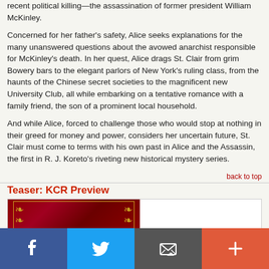recent political killing—the assassination of former president William McKinley.

Concerned for her father's safety, Alice seeks explanations for the many unanswered questions about the avowed anarchist responsible for McKinley's death. In her quest, Alice drags St. Clair from grim Bowery bars to the elegant parlors of New York's ruling class, from the haunts of the Chinese secret societies to the magnificent new University Club, all while embarking on a tentative romance with a family friend, the son of a prominent local household.

And while Alice, forced to challenge those who would stop at nothing in their greed for money and power, considers her uncertain future, St. Clair must come to terms with his own past in Alice and the Assassin, the first in R. J. Koreto's riveting new historical mystery series.
back to top
Teaser: KCR Preview
[Figure (illustration): Decorative red book cover with gold ornamental border design]